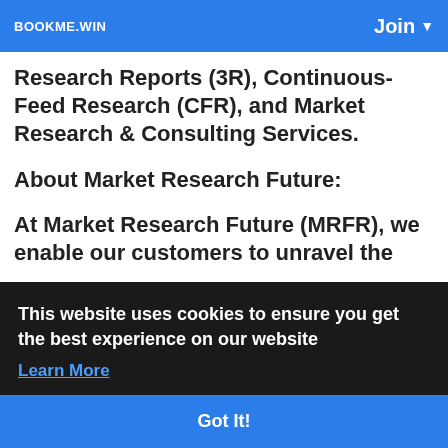BOOKME.WIN  Join
Research Reports (3R), Continuous-Feed Research (CFR), and Market Research & Consulting Services.
About Market Research Future:
At Market Research Future (MRFR), we enable our customers to unravel the
This website uses cookies to ensure you get the best experience on our website
Learn More
Got It!
Consulting Services. MRFR team have